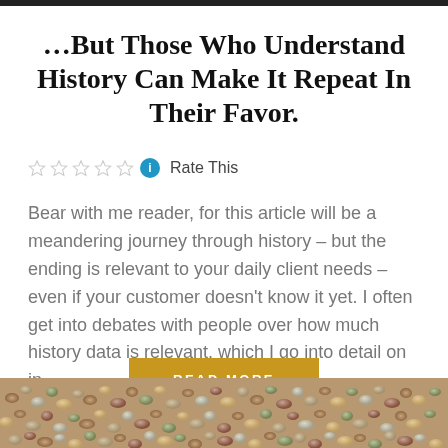...But Those Who Understand History Can Make It Repeat In Their Favor.
Rate This
Bear with me reader, for this article will be a meandering journey through history – but the ending is relevant to your daily client needs – even if your customer doesn't know it yet. I often get into debates with people over how much history data is relevant, which I go into detail on in…
[Figure (photo): Close-up photo of assorted seeds and legumes including soybeans, kidney beans, chickpeas, and other varieties in muted earth tones]